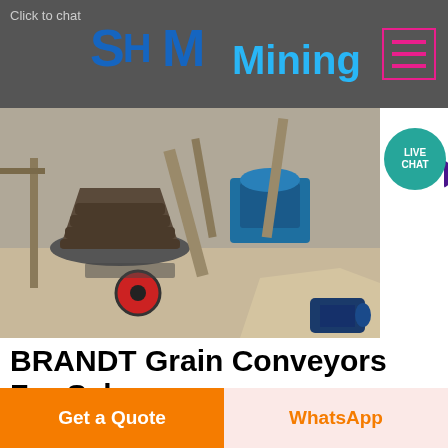Click to chat — SH MMining
[Figure (photo): Mining equipment and machinery at a quarry or mining site, showing cone crushers, conveyors, and industrial machinery.]
BRANDT Grain Conveyors For Sale
22 09 2017  Browse our inventory of new and used BRANDT Grain Conveyors For Sale near you at TractorHouse Models include 1545